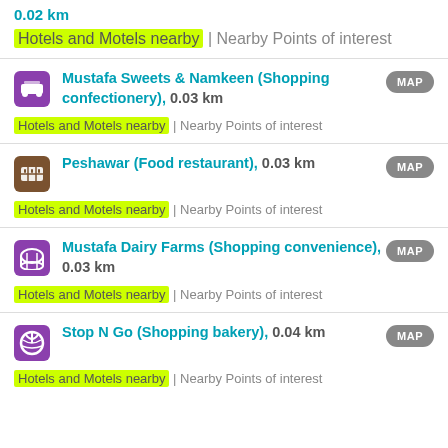0.02 km
Hotels and Motels nearby | Nearby Points of interest
Mustafa Sweets & Namkeen (Shopping confectionery), 0.03 km
Hotels and Motels nearby | Nearby Points of interest
Peshawar (Food restaurant), 0.03 km
Hotels and Motels nearby | Nearby Points of interest
Mustafa Dairy Farms (Shopping convenience), 0.03 km
Hotels and Motels nearby | Nearby Points of interest
Stop N Go (Shopping bakery), 0.04 km
Hotels and Motels nearby | Nearby Points of interest